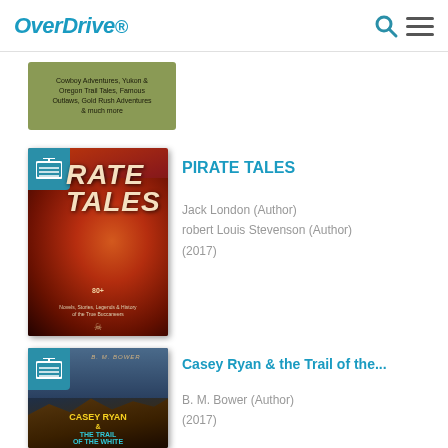[Figure (logo): OverDrive logo in teal italic bold font]
[Figure (screenshot): Search and menu icons in header]
[Figure (other): Partial green banner with text: Cowboy Adventures, Yukon & Oregon Trail Tales, Famous Outlaws, Gold Rush Adventures & much more]
[Figure (photo): Pirate Tales book cover with dramatic battle scene illustration]
PIRATE TALES
Jack London (Author)
robert Louis Stevenson (Author)
(2017)
[Figure (photo): Casey Ryan & the Trail of the White book cover with canyon landscape]
Casey Ryan & the Trail of the...
B. M. Bower (Author)
(2017)